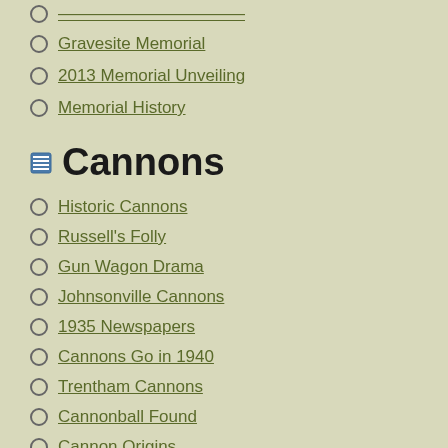Gravesite Memorial
2013 Memorial Unveiling
Memorial History
Cannons
Historic Cannons
Russell's Folly
Gun Wagon Drama
Johnsonville Cannons
1935 Newspapers
Cannons Go in 1940
Trentham Cannons
Cannonball Found
Cannon Origins
Research Commentary